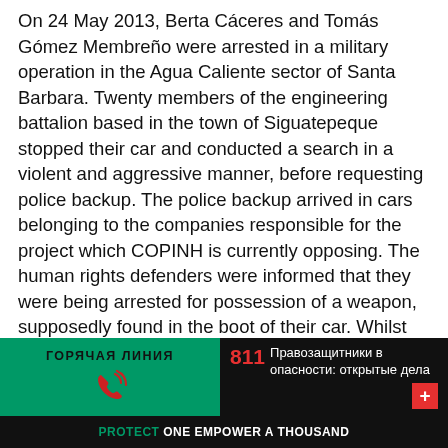On 24 May 2013, Berta Cáceres and Tomás Gómez Membreño were arrested in a military operation in the Agua Caliente sector of Santa Barbara. Twenty members of the engineering battalion based in the town of Siguatepeque stopped their car and conducted a search in a violent and aggressive manner, before requesting police backup. The police backup arrived in cars belonging to the companies responsible for the project which COPINH is currently opposing. The human rights defenders were informed that they were being arrested for possession of a weapon, supposedly found in the boot of their car. Whilst Tomás Gómez Membreño was released at 11pm that night, Berta Cáceres was placed in a cell and treated as a highly dangerous person.
ГОРЯЧАЯ ЛИНИЯ | 811 Правозащитники в опасности: открытые дела | PROTECT ONE EMPOWER A THOUSAND